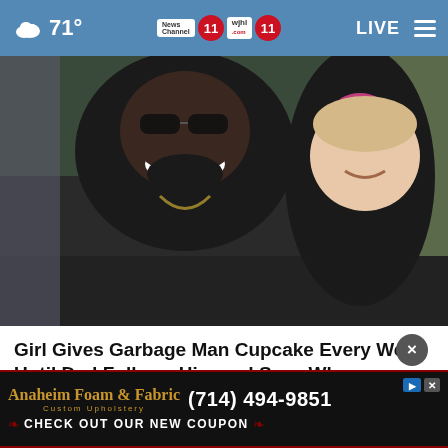71° | News Channel 11 WJHL.com 11 | LIVE
[Figure (photo): A smiling man with sunglasses and beard posing with a small blonde girl who has a pink bow in her hair]
Girl Gives Garbage Man Cupcake Every Week Until Dad Follows Him and Sees Why
Healthy Gem
[Figure (photo): Partial second article photo with advertisement overlay showing Anaheim Foam & Fabric, (714) 494-9851, CHECK OUT OUR NEW COUPON]